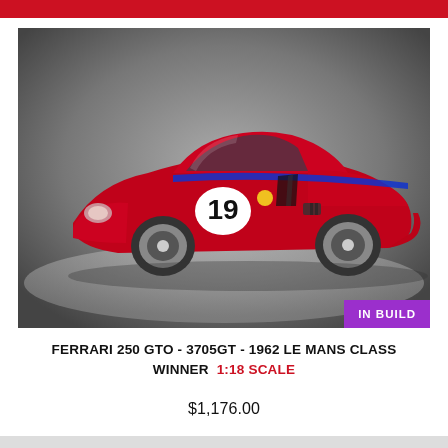[Figure (photo): Red Ferrari 250 GTO race car, number 19, with blue stripe, on grey studio background. Purple 'IN BUILD' badge in lower right corner.]
FERRARI 250 GTO - 3705GT - 1962 LE MANS CLASS WINNER  1:18 SCALE
$1,176.00